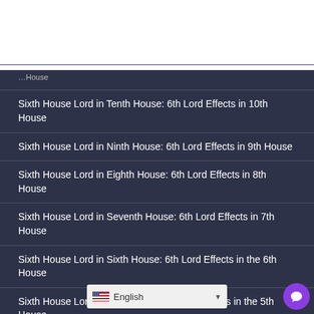[Figure (other): White rectangular image area at top of page]
…(truncated) …House
Sixth House Lord in Tenth House: 6th Lord Effects in 10th House
Sixth House Lord in Ninth House: 6th Lord Effects in 9th House
Sixth House Lord in Eighth House: 6th Lord Effects in 8th House
Sixth House Lord in Seventh House: 6th Lord Effects in 7th House
Sixth House Lord in Sixth House: 6th Lord Effects in the 6th House
Sixth House Lord in Fifth House: 6th Lord Effects in the 5th House
Sixth House Lord in Fourth House: 6th Lord Effects in the 4th House